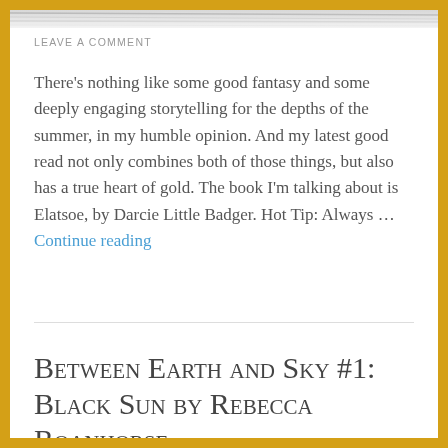[Figure (photo): Top portion of an illustration or photo, showing gray textured lines, partially cropped at the top of the page.]
LEAVE A COMMENT
There's nothing like some good fantasy and some deeply engaging storytelling for the depths of the summer, in my humble opinion. And my latest good read not only combines both of those things, but also has a true heart of gold. The book I'm talking about is Elatsoe, by Darcie Little Badger. Hot Tip: Always … Continue reading
Between Earth and Sky #1: Black Sun by Rebecca Roanhorse